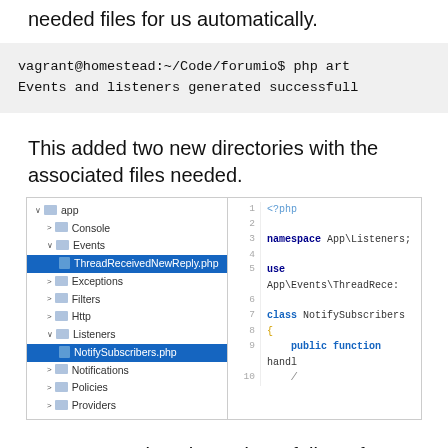needed files for us automatically.
[Figure (screenshot): Terminal output showing: vagrant@homestead:~/Code/forumio$ php art... / Events and listeners generated successfull...]
This added two new directories with the associated files needed.
[Figure (screenshot): IDE screenshot showing file tree with app directory expanded, Events/ThreadReceivedNewReply.php and Listeners/NotifySubscribers.php highlighted in blue, alongside code editor showing PHP class NotifySubscribers with namespace App\Listeners, use App\Events\ThreadRece:, class NotifySubscribers { public function handl...]
We can populate the code as follows for both ThreadReceivedNewReply.php and